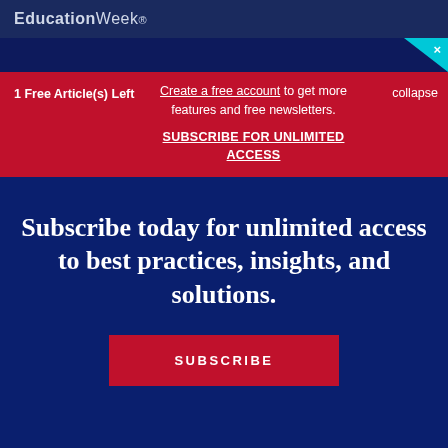EducationWeek.
1 Free Article(s) Left
Create a free account to get more features and free newsletters. SUBSCRIBE FOR UNLIMITED ACCESS
collapse
Subscribe today for unlimited access to best practices, insights, and solutions.
SUBSCRIBE